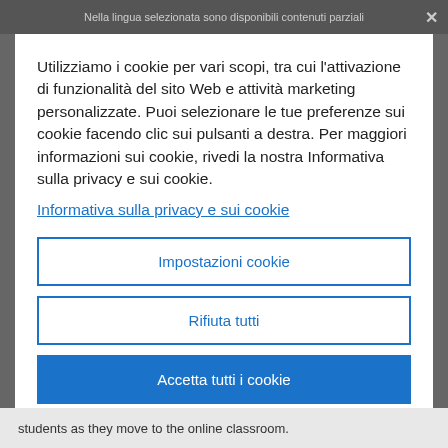Nella lingua selezionata sono disponibili contenuti parziali
Utilizziamo i cookie per vari scopi, tra cui l'attivazione di funzionalità del sito Web e attività marketing personalizzate. Puoi selezionare le tue preferenze sui cookie facendo clic sui pulsanti a destra. Per maggiori informazioni sui cookie, rivedi la nostra Informativa sulla privacy e sui cookie.
Informativa sulla privacy e sui cookie
Impostazioni cookie
Rifiuta tutti
Accetta tutti i cookie
students as they move to the online classroom.